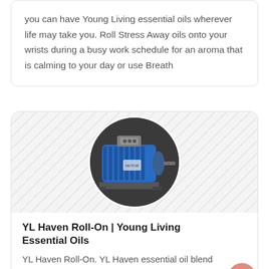you can have Young Living essential oils wherever life may take you. Roll Stress Away oils onto your wrists during a busy work schedule for an aroma that is calming to your day or use Breath
[Figure (photo): A blue electric motor shown in a circular cropped image, with a hatched/diagonal stripe background pattern.]
YL Haven Roll-On | Young Living Essential Oils
YL Haven Roll-On. YL Haven essential oil blend contains a unique combination of Lime essential oil and vanilla extract. It’s this distinct mix that gives YL Haven its unique and pleasant aroma, among other